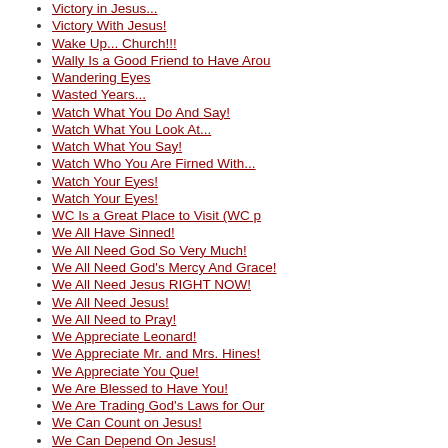Victory in Jesus...
Victory With Jesus!
Wake Up... Church!!!
Wally Is a Good Friend to Have Arou
Wandering Eyes
Wasted Years...
Watch What You Do And Say!
Watch What You Look At...
Watch What You Say!
Watch Who You Are Firned With...
Watch Your Eyes!
Watch Your Eyes!
WC Is a Great Place to Visit (WC p
We All Have Sinned!
We All Need God So Very Much!
We All Need God's Mercy And Grace!
We All Need Jesus RIGHT NOW!
We All Need Jesus!
We All Need to Pray!
We Appreciate Leonard!
We Appreciate Mr. and Mrs. Hines!
We Appreciate You Que!
We Are Blessed to Have You!
We Are Trading God's Laws for Our
We Can Count on Jesus!
We Can Depend On Jesus!
We Can Trust Jesus To Take Care Of
We Can't Pray to God?
We Don't Need A "Great Church," But
We Have A Perverted Society